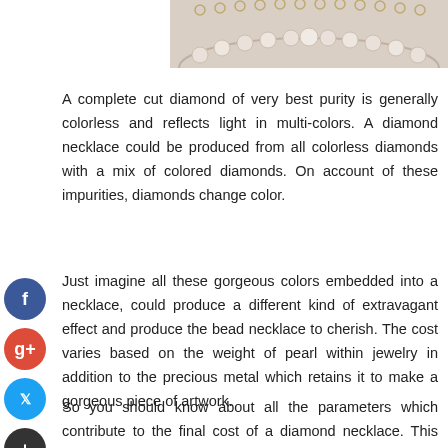[Figure (photo): Partial view of a pearl/diamond necklace on a light background, showing the top portion of the jewelry]
A complete cut diamond of very best purity is generally colorless and reflects light in multi-colors. A diamond necklace could be produced from all colorless diamonds with a mix of colored diamonds. On account of these impurities, diamonds change color.
Just imagine all these gorgeous colors embedded into a necklace, could produce a different kind of extravagant effect and produce the bead necklace to cherish. The cost varies based on the weight of pearl within jewelry in addition to the precious metal which retains it to make a gorgeous piece of artwork.
So you should know about all the parameters which contribute to the final cost of a diamond necklace. This can help you in